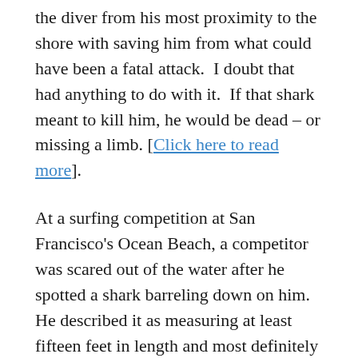the diver from his most proximity to the shore with saving him from what could have been a fatal attack.  I doubt that had anything to do with it.  If that shark meant to kill him, he would be dead – or missing a limb. [Click here to read more].
At a surfing competition at San Francisco's Ocean Beach, a competitor was scared out of the water after he spotted a shark barreling down on him.  He described it as measuring at least fifteen feet in length and most definitely not a dolphin.  Unlike in other recent attacks and sightings, officials did not close the beach and the competition went on as scheduled.  Obviously, these surfers have not been properly intimidated.  Metaphorically flipping